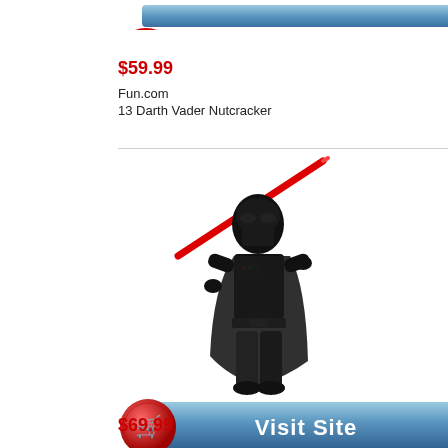[Figure (other): Partial 'Visit Site' button with red shopping cart icon and blue button, cropped at top of page]
$59.99
Fun.com
13 Darth Vader Nutcracker
[Figure (photo): Child wearing Darth Vader costume with black suit, helmet mask, and holding a red lightsaber]
[Figure (other): Visit Site button with red shopping cart icon on left and blue gradient rectangle with white text 'Visit Site']
$69.99